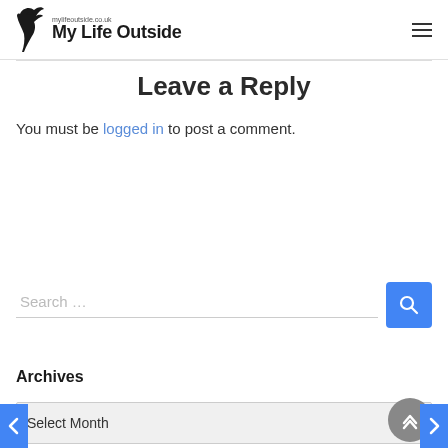My Life Outside — mylifeoutside.co.uk
Leave a Reply
You must be logged in to post a comment.
[Figure (screenshot): Search input bar with placeholder text 'Search ...' and a blue search button with magnifying glass icon]
Archives
[Figure (screenshot): Select Month dropdown widget]